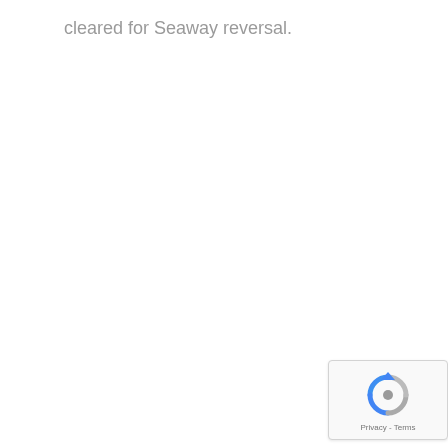cleared for Seaway reversal.
[Figure (other): reCAPTCHA widget with spinning arrow icon and Privacy - Terms footer text]